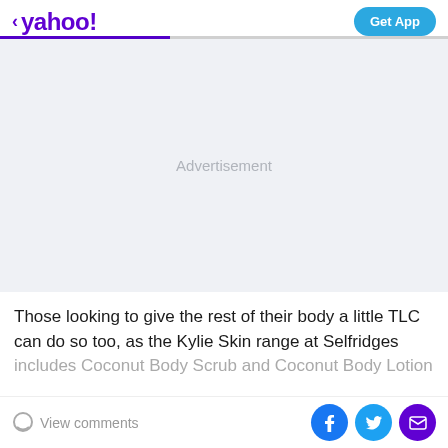< yahoo!  Get App
[Figure (other): Advertisement placeholder area with light gray background and 'Advertisement' label in gray text]
Those looking to give the rest of their body a little TLC can do so too, as the Kylie Skin range at Selfridges includes Coconut Body Scrub and Coconut Body Lotion
View comments  [Facebook] [Twitter] [Email]